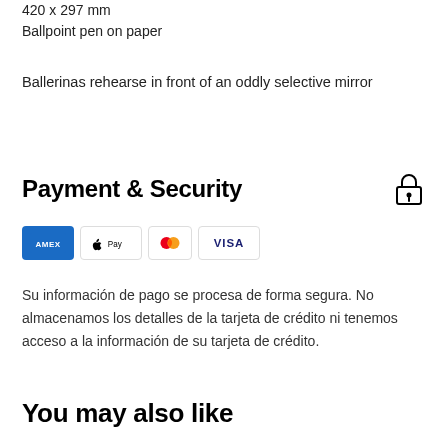420 x 297 mm
Ballpoint pen on paper
Ballerinas rehearse in front of an oddly selective mirror
Payment & Security
[Figure (other): Payment method icons: American Express, Apple Pay, Mastercard, Visa]
Su información de pago se procesa de forma segura. No almacenamos los detalles de la tarjeta de crédito ni tenemos acceso a la información de su tarjeta de crédito.
You may also like